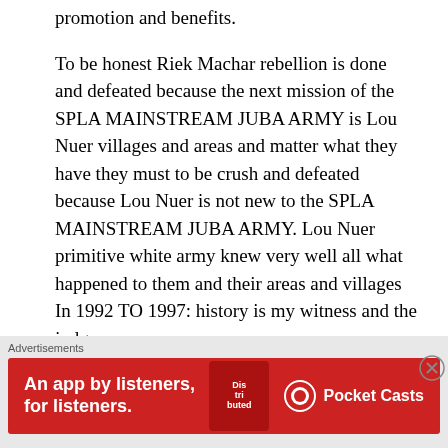promotion and benefits.
To be honest Riek Machar rebellion is done and defeated because the next mission of the SPLA MAINSTREAM JUBA ARMY is Lou Nuer villages and areas and matter what they have they must to be crush and defeated because Lou Nuer is not new to the SPLA MAINSTREAM JUBA ARMY. Lou Nuer primitive white army knew very well all what happened to them and their areas and villages In 1992 TO 1997: history is my witness and the judge.
Thank you very much for reading my post
Advertisements
[Figure (other): Red advertisement banner for Pocket Casts app — 'An app by listeners, for listeners.' with phone image showing 'Distributed' text and Pocket Casts logo]